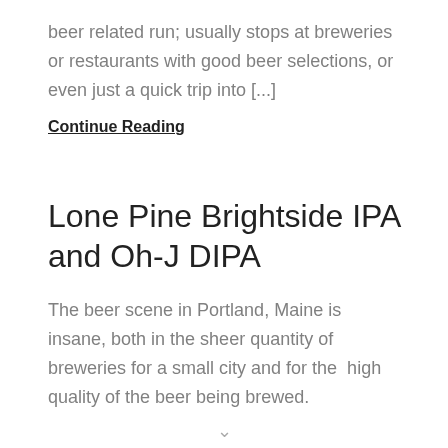beer related run; usually stops at breweries or restaurants with good beer selections, or even just a quick trip into [...]
Continue Reading
Lone Pine Brightside IPA and Oh-J DIPA
The beer scene in Portland, Maine is insane, both in the sheer quantity of breweries for a small city and for the  high quality of the beer being brewed.